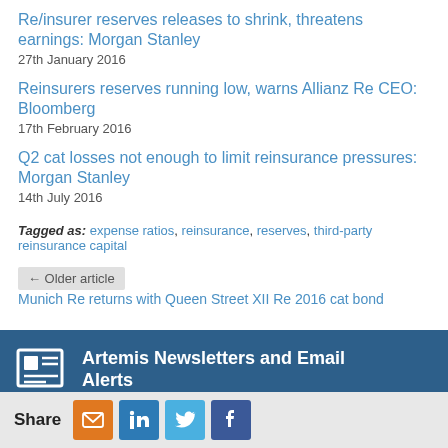Re/insurer reserves releases to shrink, threatens earnings: Morgan Stanley
27th January 2016
Reinsurers reserves running low, warns Allianz Re CEO: Bloomberg
17th February 2016
Q2 cat losses not enough to limit reinsurance pressures: Morgan Stanley
14th July 2016
Tagged as: expense ratios, reinsurance, reserves, third-party reinsurance capital
← Older article Munich Re returns with Queen Street XII Re 2016 cat bond
Artemis Newsletters and Email Alerts
Share